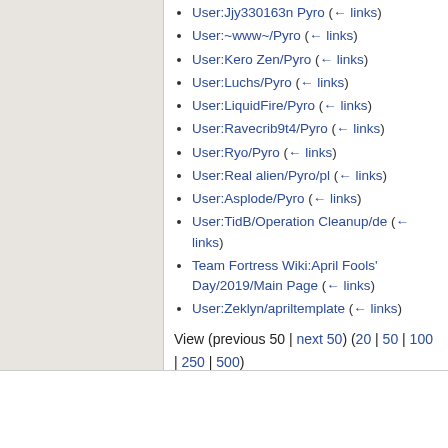User:Jjy330163/Pyro  (← links)
User:~www~/Pyro  (← links)
User:Kero Zen/Pyro  (← links)
User:Luchs/Pyro  (← links)
User:LiquidFire/Pyro  (← links)
User:Ravecrib9t4/Pyro  (← links)
User:Ryo/Pyro  (← links)
User:Real alien/Pyro/pl  (← links)
User:Asplode/Pyro  (← links)
User:TidB/Operation Cleanup/de  (← links)
Team Fortress Wiki:April Fools' Day/2019/Main Page  (← links)
User:Zeklyn/apriltemplate  (← links)
View (previous 50 | next 50) (20 | 50 | 100 | 250 | 500)
About Team Fortress Wiki   Terms of Use